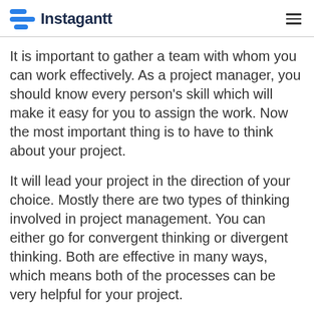Instagantt
It is important to gather a team with whom you can work effectively. As a project manager, you should know every person's skill which will make it easy for you to assign the work. Now the most important thing is to have to think about your project.
It will lead your project in the direction of your choice. Mostly there are two types of thinking involved in project management. You can either go for convergent thinking or divergent thinking. Both are effective in many ways, which means both of the processes can be very helpful for your project.